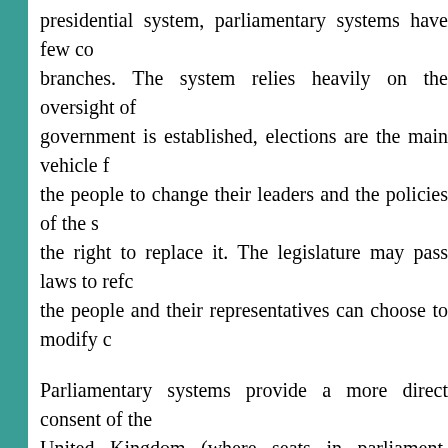presidential system, parliamentary systems have few co branches. The system relies heavily on the oversight of government is established, elections are the main vehicle f the people to change their leaders and the policies of the s the right to replace it. The legislature may pass laws to refo the people and their representatives can choose to modify c
Parliamentary systems provide a more direct consent of the United Kingdom (where seats in parliament are won by proportional representation or mixed systems (where most list). Oddly, the United States of America, the world's old national office through an Electoral College. While the Ele the second time in 16 years, the national vote winner (by 2 electoral college vote, which was achieved by several narro
Consent of the Governed: A Negative Defi
As noted above, in defining consent of the governed, it is offer many clear examples of what it means to have a sys